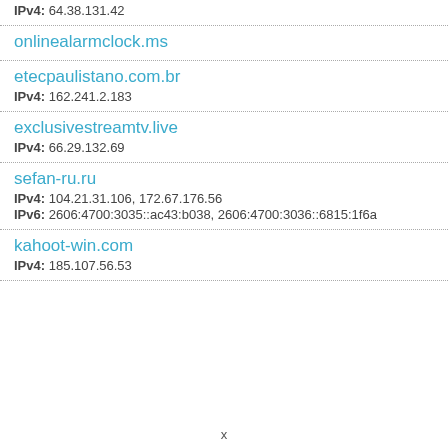IPv4: 64.38.131.42
onlinealarmclock.ms
etecpaulistano.com.br
IPv4: 162.241.2.183
exclusivestreamtv.live
IPv4: 66.29.132.69
sefan-ru.ru
IPv4: 104.21.31.106, 172.67.176.56
IPv6: 2606:4700:3035::ac43:b038, 2606:4700:3036::6815:1f6a
kahoot-win.com
IPv4: 185.107.56.53
x